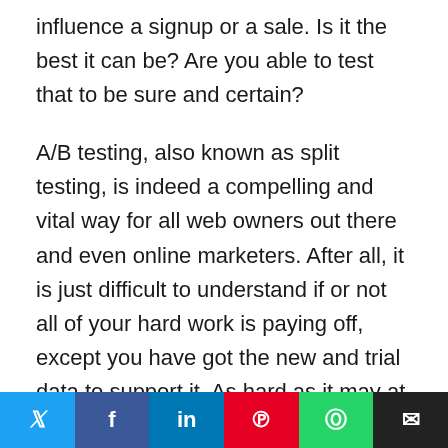influence a signup or a sale. Is it the best it can be? Are you able to test that to be sure and certain?
A/B testing, also known as split testing, is indeed a compelling and vital way for all web owners out there and even online marketers. After all, it is just difficult to understand if or not all of your hard work is paying off, except you have got the new and trial data to support it. As hard as it may at first sound, getting used to this approach
Social share bar: Twitter, Facebook, LinkedIn, Pinterest, WhatsApp, Email